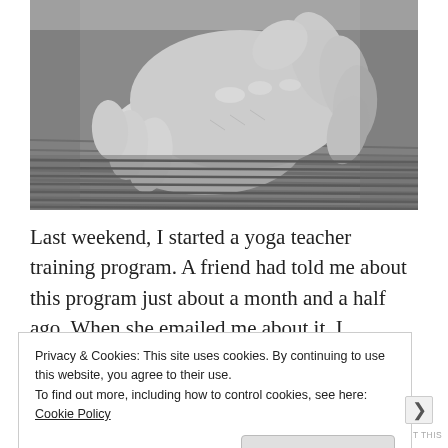[Figure (photo): Black and white photograph of clasped hands resting on a striped yoga mat or woven textile surface, viewed from above.]
Last weekend, I started a yoga teacher training program. A friend had told me about this program just about a month and a half ago. When she emailed me about it, I instantly
Privacy & Cookies: This site uses cookies. By continuing to use this website, you agree to their use.
To find out more, including how to control cookies, see here: Cookie Policy